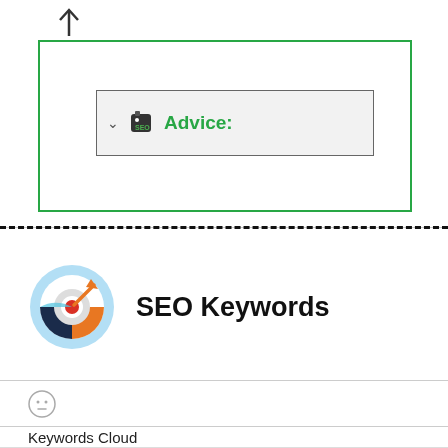[Figure (screenshot): Up arrow icon at top left of panel]
[Figure (screenshot): Green-bordered box containing an inner gray box with a chevron, SEO tag icon, and 'Advice:' label in green text]
[Figure (screenshot): SEO Keywords section with circular target/bullseye icon with arrow and bold 'SEO Keywords' text]
[Figure (screenshot): Neutral smiley face icon in a row]
Keywords Cloud
efsane site all buy policy reserved